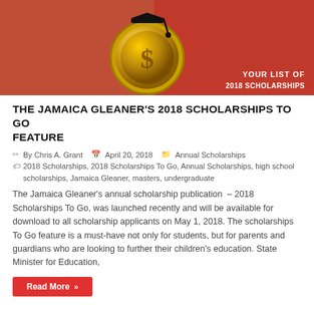[Figure (illustration): Promotional image for the Jamaica Gleaner 2018 Scholarships To Go feature, showing a gold coin with a dollar sign wearing a graduation cap, on a red background, with text 'YOUR LIST OF...' in the bottom right corner.]
THE JAMAICA GLEANER'S 2018 SCHOLARSHIPS TO GO FEATURE
By Chris A. Grant   April 20, 2018   Annual Scholarships
2018 Scholarships, 2018 Scholarships To Go, Annual Scholarships, high school scholarships, Jamaica Gleaner, masters, undergraduate
The Jamaica Gleaner's annual scholarship publication  – 2018 Scholarships To Go, was launched recently and will be available for download to all scholarship applicants on May 1, 2018. The scholarships To Go feature is a must-have not only for students, but for parents and guardians who are looking to further their children's education. State Minister for Education,
Read More »